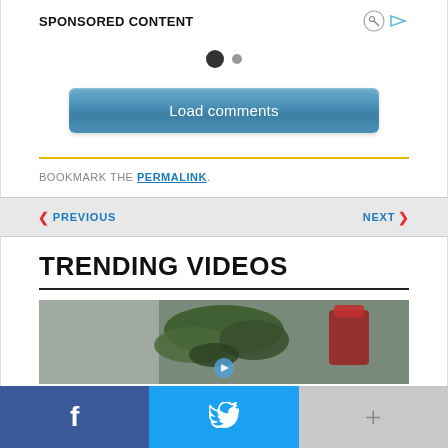SPONSORED CONTENT
Load comments
BOOKMARK THE PERMALINK.
◄ PREVIOUS
NEXT ►
TRENDING VIDEOS
[Figure (photo): Video thumbnail showing a plant and decorative item, with a play button overlay]
f
t
+